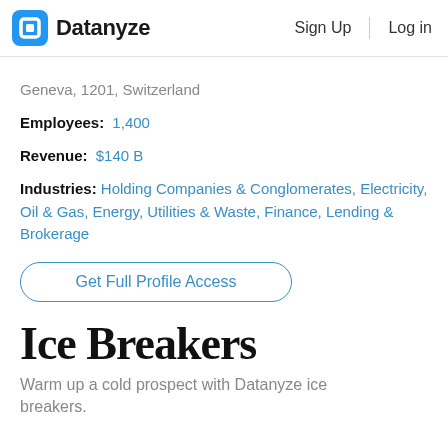Datanyze  Sign Up  Log in
Geneva, 1201, Switzerland
Employees: 1,400
Revenue: $140 B
Industries: Holding Companies & Conglomerates, Electricity, Oil & Gas, Energy, Utilities & Waste, Finance, Lending & Brokerage
Get Full Profile Access
Ice Breakers
Warm up a cold prospect with Datanyze ice breakers.